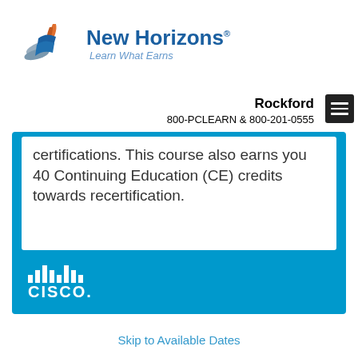[Figure (logo): New Horizons logo with tagline 'Learn What Earns']
Rockford
800-PCLEARN  & 800-201-0555
certifications. This course also earns you 40 Continuing Education (CE) credits towards recertification.
[Figure (logo): Cisco logo in white on blue background]
Skip to Available Dates